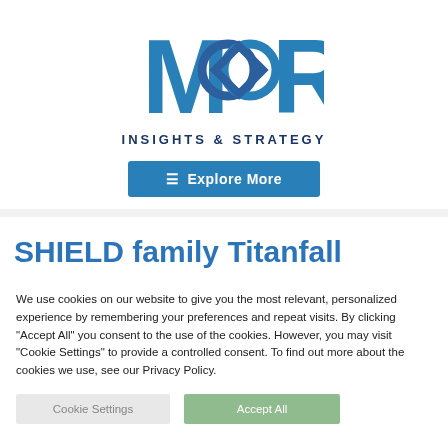[Figure (logo): Moor Insights & Strategy logo with stylized M and interlocking diamond/ring shapes in blue, and text INSIGHTS & STRATEGY below]
[Figure (other): Blue button with hamburger menu icon and text 'Explore More']
SHIELD family Titanfall
We use cookies on our website to give you the most relevant, personalized experience by remembering your preferences and repeat visits. By clicking "Accept All" you consent to the use of the cookies. However, you may visit "Cookie Settings" to provide a controlled consent. To find out more about the cookies we use, see our Privacy Policy.
Cookie Settings | Accept All